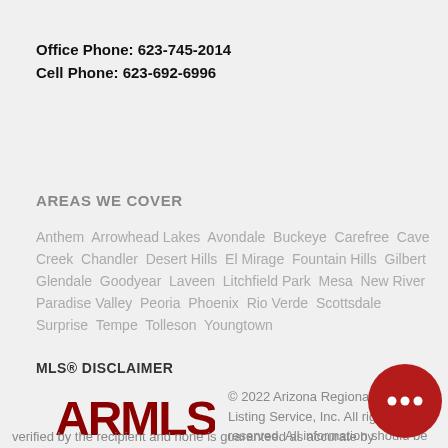Office Phone: 623-745-2014
Cell Phone: 623-692-6996
AREAS WE COVER
Anthem  Arrowhead Lakes  Avondale  Buckeye  Carefree  Cave Creek  Chandler  Desert Hills  El Mirage  Fountain Hills  Gilbert  Glendale  Goodyear  Laveen  Litchfield Park  Mesa  New River  Paradise Valley  Peoria  Phoenix  Rio Verde  Scottsdale  Surprise  Tempe  Tolleson  Youngtown
MLS® DISCLAIMER
[Figure (logo): ARMLS logo in dark red block letters]
© 2022 Arizona Regional Multiple Listing Service, Inc. All rights reserved. All information should be verified by the recipient and none is guaranteed as accurate by ARMLS. Information deemed to be reliable but not guaranteed.